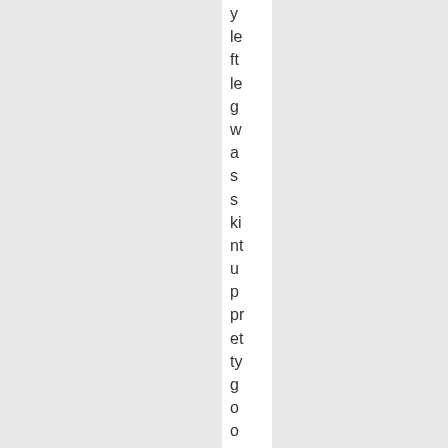y le ft le g w a s s ki nt u p pr et ty g o o d a b o v e th e a